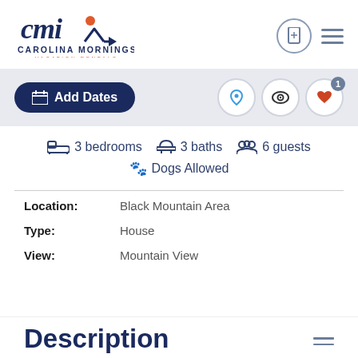[Figure (logo): Carolina Mornings Vacation Rentals logo with CMI script letters and orange dot]
Add Dates
3 bedrooms  3 baths  6 guests
🐾 Dogs Allowed
Location:  Black Mountain Area
Type:  House
View:  Mountain View
Description